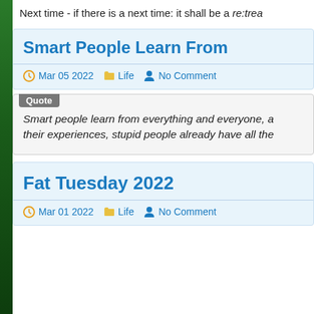Next time - if there is a next time: it shall be a re:trea
Smart People Learn From
Mar 05 2022   Life   No Comment
Smart people learn from everything and everyone, a their experiences, stupid people already have all the
Fat Tuesday 2022
Mar 01 2022   Life   No Comment